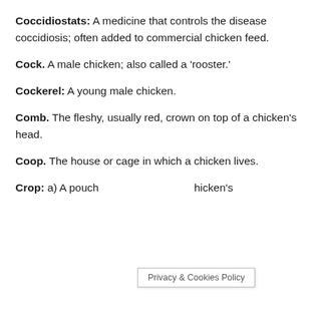Coccidiostats: A medicine that controls the disease coccidiosis; often added to commercial chicken feed.
Cock. A male chicken; also called a 'rooster.'
Cockerel: A young male chicken.
Comb. The fleshy, usually red, crown on top of a chicken's head.
Coop. The house or cage in which a chicken lives.
Crop: a) A pouch [Privacy & Cookies Policy] hicken's